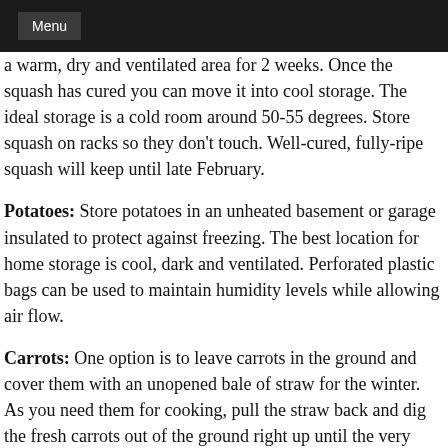Menu
a warm, dry and ventilated area for 2 weeks.  Once the squash has cured you can move it into cool storage.  The ideal storage is a cold room around 50-55 degrees.  Store squash on racks so they don't touch.  Well-cured, fully-ripe squash will keep until late February.
Potatoes: Store potatoes in an unheated basement or garage insulated to protect against freezing. The best location for home storage is cool, dark and ventilated.  Perforated plastic bags can be used to maintain humidity levels while allowing air flow.
Carrots: One option is to leave carrots in the ground and cover them with an unopened bale of straw for the winter. As you need them for cooking, pull the straw back and dig the fresh carrots out of the ground right up until the very hard frost of late December or January.  Alternatively, you can dig up all of your carrots and 'replant' them into bushel baskets filled with sharp sand. Keep the carrot tops intact as the root loses much of its nutrients shortly